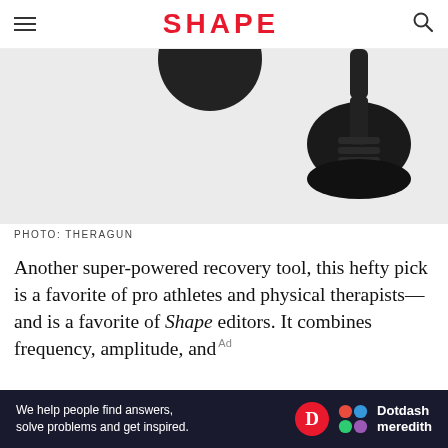SHAPE
[Figure (photo): Product photo of Theragun massage gun attachments on light gray background]
PHOTO: THERAGUN
Another super-powered recovery tool, this hefty pick is a favorite of pro athletes and physical therapists—and is a favorite of Shape editors. It combines frequency, amplitude, and torque for ultimate vibration therapy. The skill...
[Figure (infographic): Dotdash Meredith advertisement banner: 'We help people find answers, solve problems and get inspired.']